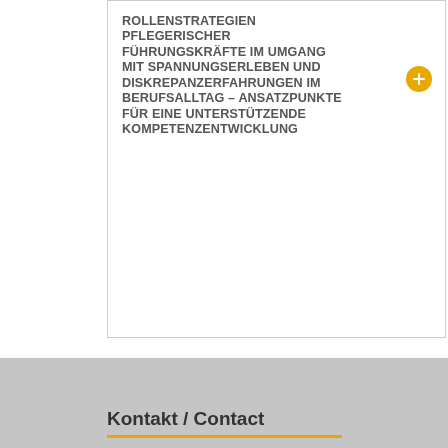ROLLENSTRATEGIEN PFLEGERISCHER FÜHRUNGSKRÄFTE IM UMGANG MIT SPANNUNGSERLEBEN UND DISKREPANZERFAHRUNGEN IM BERUFSALLTAG – ANSATZPUNKTE FÜR EINE UNTERSTÜTZENDE KOMPETENZENTWICKLUNG
Beiträge P&G 4/2018 als PDF downloaden
Kontakt / Contact